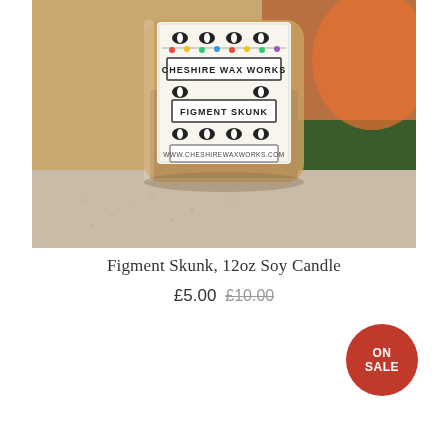[Figure (photo): A glass jar candle with a decorative label reading 'CHESHIRE WAX WORKS', 'FIGMENT SKUNK', and 'WWW.CHESHIREWAXWORKS.COM', surrounded by skunk illustrations. The jar contains tan/brown wax and sits on a speckled grey surface with a blurred background.]
Figment Skunk, 12oz Soy Candle
£5.00 £10.00